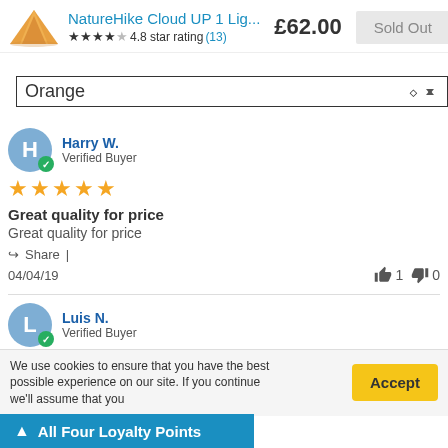[Figure (screenshot): Product listing header with tent image, product title 'NatureHike Cloud UP 1 Lig...', price £62.00, Sold Out button, 4.8 star rating with (13) reviews, Orange color selector dropdown, two customer reviews from Harry W. and Luis N., cookie consent bar, and loyalty points bar]
NatureHike Cloud UP 1 Lig...
£62.00
Sold Out
4.8 star rating (13)
Orange
Harry W.
Verified Buyer
Great quality for price
Great quality for price
Share
04/04/19
1
0
Luis N.
Verified Buyer
We use cookies to ensure that you have the best possible experience on our site. If you continue we'll assume that you
Accept
All Four Loyalty Points